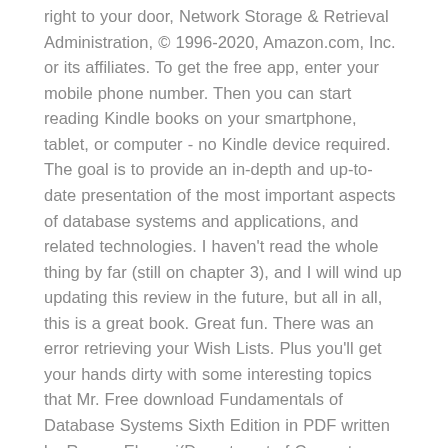right to your door, Network Storage & Retrieval Administration, © 1996-2020, Amazon.com, Inc. or its affiliates. To get the free app, enter your mobile phone number. Then you can start reading Kindle books on your smartphone, tablet, or computer - no Kindle device required. The goal is to provide an in-depth and up-to-date presentation of the most important aspects of database systems and applications, and related technologies. I haven't read the whole thing by far (still on chapter 3), and I will wind up updating this review in the future, but all in all, this is a great book. Great fun. There was an error retrieving your Wish Lists. Plus you'll get your hands dirty with some interesting topics that Mr. Free download Fundamentals of Database Systems Sixth Edition in PDF written by Ramez Elmasri(Department of Computer Science The University of Texas at Arlington), Shamkant B. Navathe(College of Computing Georgia Institute of Technology) and published by Pearson. Fundamentals of Database Systems, Fourth Edition